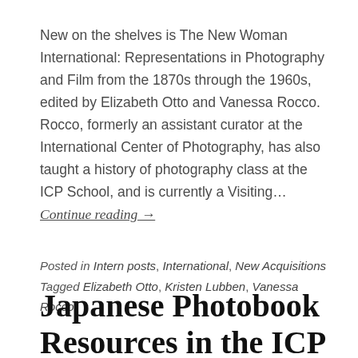New on the shelves is The New Woman International: Representations in Photography and Film from the 1870s through the 1960s, edited by Elizabeth Otto and Vanessa Rocco. Rocco, formerly an assistant curator at the International Center of Photography, has also taught a history of photography class at the ICP School, and is currently a Visiting… Continue reading →
Posted in Intern posts, International, New Acquisitions
Tagged Elizabeth Otto, Kristen Lubben, Vanessa Rocco
Japanese Photobook Resources in the ICP